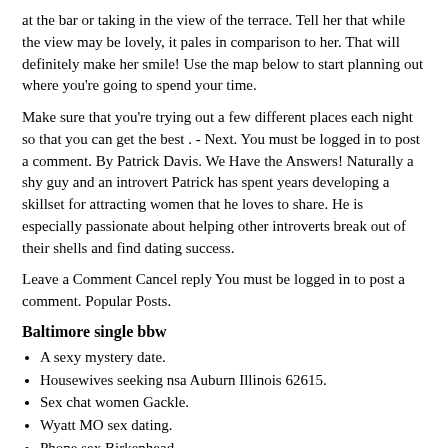at the bar or taking in the view of the terrace. Tell her that while the view may be lovely, it pales in comparison to her. That will definitely make her smile! Use the map below to start planning out where you're going to spend your time.
Make sure that you're trying out a few different places each night so that you can get the best . - Next. You must be logged in to post a comment. By Patrick Davis. We Have the Answers! Naturally a shy guy and an introvert Patrick has spent years developing a skillset for attracting women that he loves to share. He is especially passionate about helping other introverts break out of their shells and find dating success.
Leave a Comment Cancel reply You must be logged in to post a comment. Popular Posts.
Baltimore single bbw
A sexy mystery date.
Housewives seeking nsa Auburn Illinois 62615.
Sex chat women Gackle.
Wyatt MO sex dating.
Phone sex Birkenhead.
Naked women in San Juan.
Columbia girls online xxx.
Particularly a hint for really devoted...